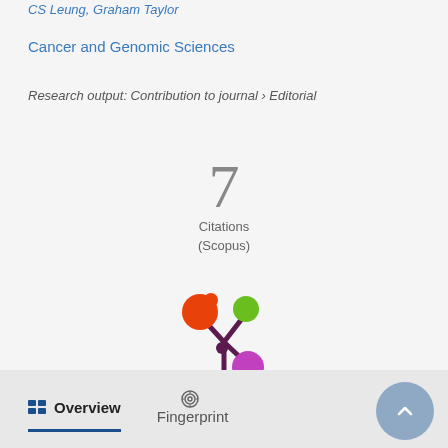CS Leung, Graham Taylor
Cancer and Genomic Sciences
Research output: Contribution to journal › Editorial
7
Citations
(Scopus)
[Figure (logo): Altmetric donut-style logo with orange, green, and purple circles connected by dark purple lines forming a asterisk/flower shape]
Overview
Fingerprint